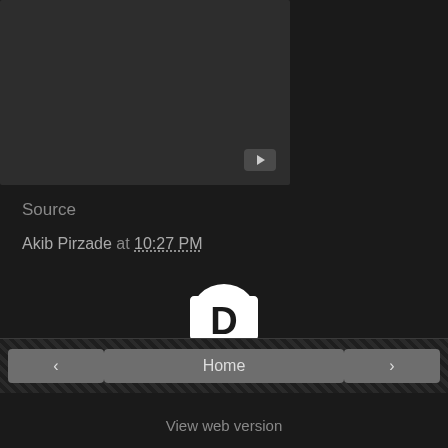[Figure (screenshot): Dark video thumbnail with YouTube play button in bottom-right corner]
Source
Akib Pirzade at 10:27 PM
[Figure (logo): Disqus logo — white speech bubble with bold D]
< Home > View web version